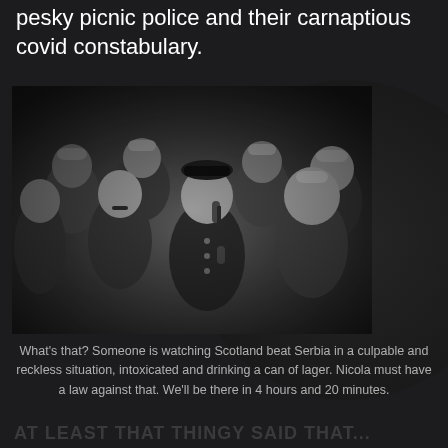pesky picnic police and their carnaptious covid constabulary.
[Figure (photo): Black and white photograph of multiple police officers in old-fashioned uniforms with dome-shaped helmets, crowded together. A central officer holds an old-style telephone handset to his ear with an alarmed expression.]
What's that? Someone is watching Scotland beat Serbia in a culpable and reckless situation, intoxicated and drinking a can of lager. Nicola must have a law against that. We'll be there in 4 hours and 20 minutes.
AT LEAST THAT THINGY SAID THAT...